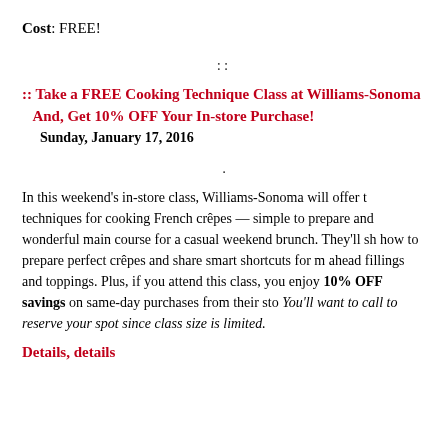Cost: FREE!
::
:: Take a FREE Cooking Technique Class at Williams-Sonoma And, Get 10% OFF Your In-store Purchase!
Sunday, January 17, 2016
.
In this weekend's in-store class, Williams-Sonoma will offer techniques for cooking French crêpes — simple to prepare and wonderful main course for a casual weekend brunch. They'll show how to prepare perfect crêpes and share smart shortcuts for make-ahead fillings and toppings. Plus, if you attend this class, you can enjoy 10% OFF savings on same-day purchases from their store. You'll want to call to reserve your spot since class size is limited.
Details, details